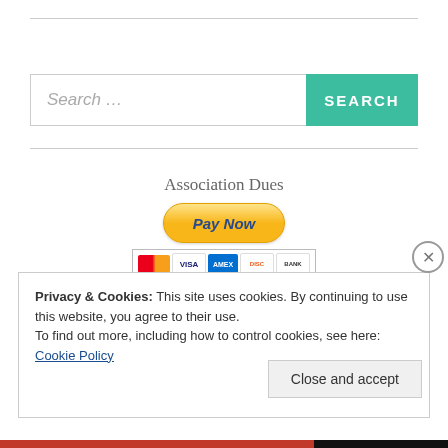[Figure (screenshot): Search bar with text input showing 'Search...' placeholder and a teal 'SEARCH' button]
[Figure (infographic): PayPal 'Pay Now' button for Association Dues with credit card icons (Mastercard, Visa, Amex, Discover, Bank)]
Privacy & Cookies: This site uses cookies. By continuing to use this website, you agree to their use.
To find out more, including how to control cookies, see here: Cookie Policy
Close and accept